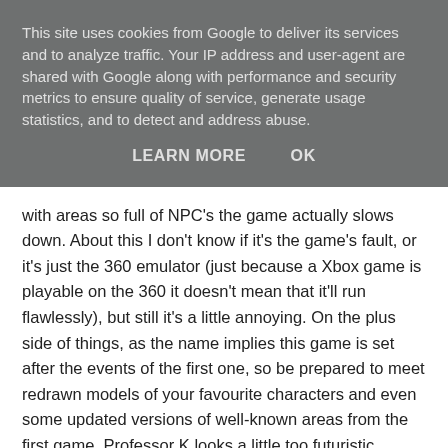This site uses cookies from Google to deliver its services and to analyze traffic. Your IP address and user-agent are shared with Google along with performance and security metrics to ensure quality of service, generate usage statistics, and to detect and address abuse.
LEARN MORE    OK
with areas so full of NPC's the game actually slows down. About this I don't know if it's the game's fault, or it's just the 360 emulator (just because a Xbox game is playable on the 360 it doesn't mean that it'll run flawlessly), but still it's a little annoying. On the plus side of things, as the name implies this game is set after the events of the first one, so be prepared to meet redrawn models of your favourite characters and even some updated versions of well-known areas from the first game. Professor K looks a little too futuristic, though...